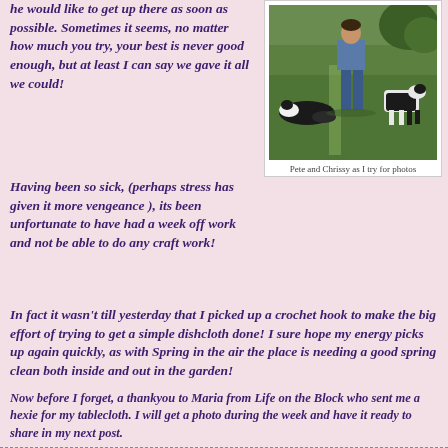he would like to get up there as soon as possible.  Sometimes it seems, no matter how much you try, your best is never good enough, but at least I can say we gave it all we could!
[Figure (photo): A person standing with two black and white border collie dogs on a green lawn outdoors.]
Pete and Chrissy as I try for photos
Having been so sick,  (perhaps stress has given it more vengeance ), its been unfortunate to have had a week off work and not be able to do any craft work!
In fact it wasn't till yesterday that I picked up a crochet hook to make the big effort of trying to get a simple dishcloth done!   I sure hope my energy picks up again quickly, as with Spring in the air the place is needing a good spring clean both inside and out in the garden!
Now before I forget, a thankyou to Maria from Life on the Block who sent me a hexie for my tablecloth.  I will get a photo during the week and have it ready to share in my next post.